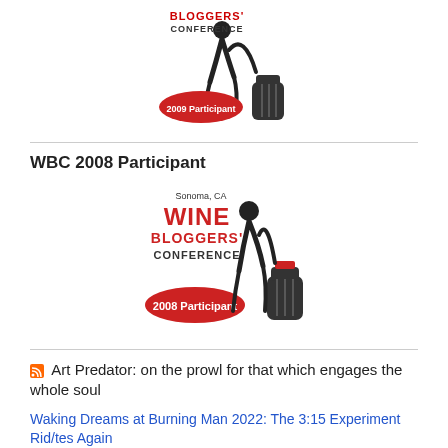[Figure (logo): Wine Bloggers' Conference 2009 Participant badge with red oval and figure holding wine bottle]
WBC 2008 Participant
[Figure (logo): Sonoma, CA Wine Bloggers' Conference 2008 Participant badge with red oval and figure holding wine bottle]
Art Predator: on the prowl for that which engages the whole soul
Waking Dreams at Burning Man 2022: The 3:15 Experiment Rid/tes Again
Hallelujah: Leonard Cohen, A Journey, A Song, A Documentary, and A